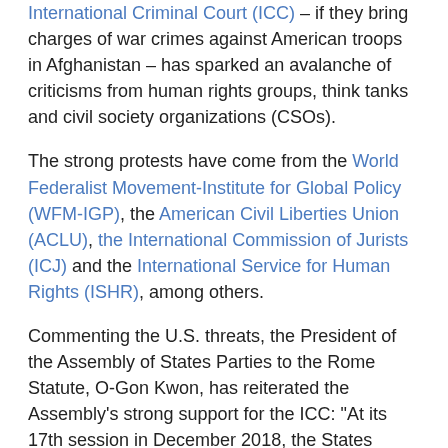International Criminal Court (ICC) – if they bring charges of war crimes against American troops in Afghanistan – has sparked an avalanche of criticisms from human rights groups, think tanks and civil society organizations (CSOs).
The strong protests have come from the World Federalist Movement-Institute for Global Policy (WFM-IGP), the American Civil Liberties Union (ACLU), the International Commission of Jurists (ICJ) and the International Service for Human Rights (ISHR), among others.
Commenting the U.S. threats, the President of the Assembly of States Parties to the Rome Statute, O-Gon Kwon, has reiterated the Assembly's strong support for the ICC: "At its 17th session in December 2018, the States Parties reconfirmed their unwavering support for the Court as an independent and impartial judicial institution, and reiterated their commitment to uphold and defend the principles and values enshrined in the Rome Statute and to preserve its integrity undeterred by any threats against